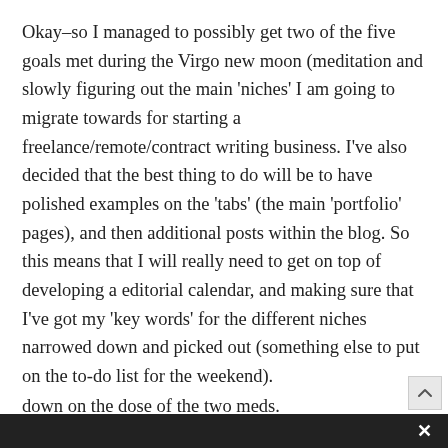Okay–so I managed to possibly get two of the five goals met during the Virgo new moon (meditation and slowly figuring out the main 'niches' I am going to migrate towards for starting a freelance/remote/contract writing business. I've also decided that the best thing to do will be to have polished examples on the 'tabs' (the main 'portfolio' pages), and then additional posts within the blog. So this means that I will really need to get on top of developing a editorial calendar, and making sure that I've got my 'key words' for the different niches narrowed down and picked out (something else to put on the to-do list for the weekend).
Luckily, we hopefully caught the hemolytic anemia in time, and our younger dog will be making a 'full recovery'. It may be another month on the high dose of meds until the allergy shot is totally out of her system, and then a gradual tampering down on the dose of the two meds.
×